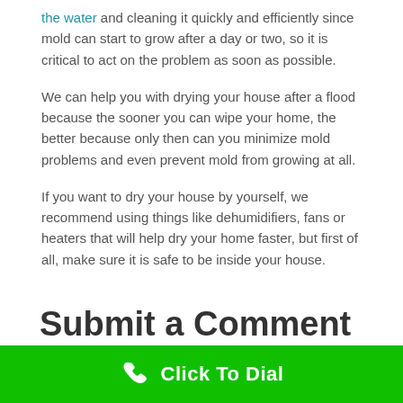the water and cleaning it quickly and efficiently since mold can start to grow after a day or two, so it is critical to act on the problem as soon as possible.
We can help you with drying your house after a flood because the sooner you can wipe your home, the better because only then can you minimize mold problems and even prevent mold from growing at all.
If you want to dry your house by yourself, we recommend using things like dehumidifiers, fans or heaters that will help dry your home faster, but first of all, make sure it is safe to be inside your house.
Submit a Comment...
Click To Dial